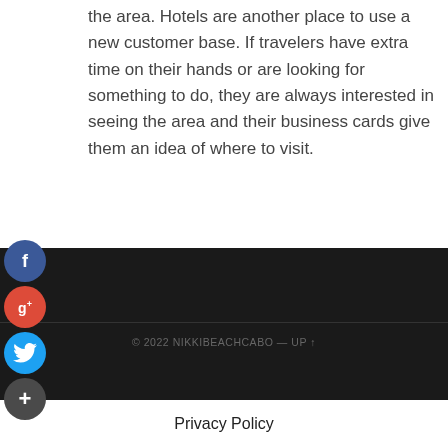Post a collection of business cards at hotels in the area. Hotels are another place to use a new customer base. If travelers have extra time on their hands or are looking for something to do, they are always interested in seeing the area and their business cards give them an idea of where to visit.
[Figure (infographic): Social media share buttons: Facebook (blue circle), Google+ (red circle), Twitter (blue circle), Plus/Add (dark circle)]
© 2022 NIKKIBEACHCABO — UP ↑
Privacy Policy